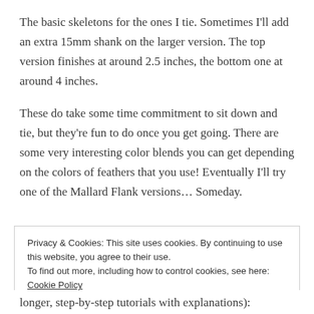The basic skeletons for the ones I tie. Sometimes I'll add an extra 15mm shank on the larger version. The top version finishes at around 2.5 inches, the bottom one at around 4 inches.
These do take some time commitment to sit down and tie, but they're fun to do once you get going. There are some very interesting color blends you can get depending on the colors of feathers that you use! Eventually I'll try one of the Mallard Flank versions… Someday.
Privacy & Cookies: This site uses cookies. By continuing to use this website, you agree to their use.
To find out more, including how to control cookies, see here: Cookie Policy
Close and accept
longer, step-by-step tutorials with explanations):